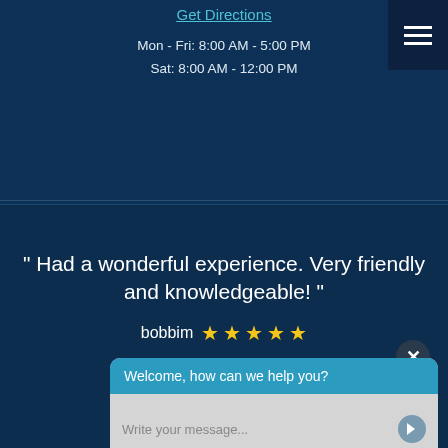Get Directions
Mon - Fri: 8:00 AM - 5:00 PM
Sat: 8:00 AM - 12:00 PM
" Had a wonderful experience. Very friendly and knowledgeable! "
bobbim ★★★★★
More Reviews
Welcome, how can we help you?
Write your message...